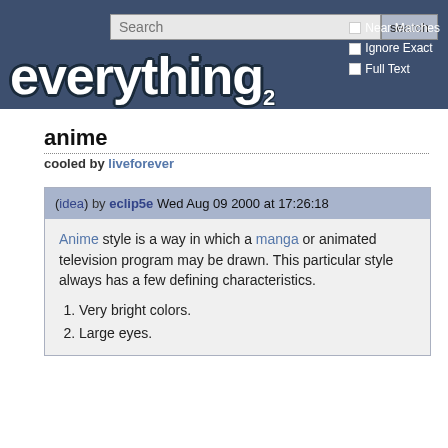[Figure (screenshot): Everything2 website header with search bar and logo]
anime
cooled by liveforever
(idea) by eclip5e Wed Aug 09 2000 at 17:26:18
Anime style is a way in which a manga or animated television program may be drawn. This particular style always has a few defining characteristics.
Very bright colors.
Large eyes.